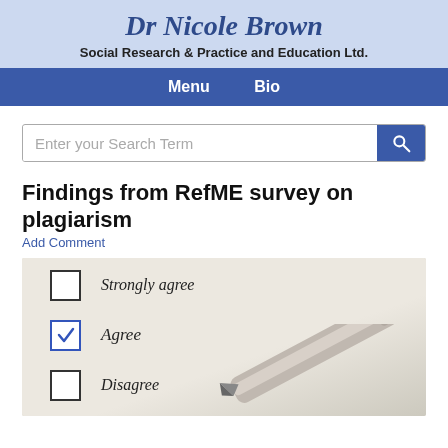Dr Nicole Brown
Social Research & Practice and Education Ltd.
Menu  Bio
Enter your Search Term
Findings from RefME survey on plagiarism
Add Comment
[Figure (photo): A paper checklist with three options: Strongly agree (unchecked), Agree (checked with a blue checkmark), and Disagree (unchecked), with a pen resting across the lower portion of the image.]